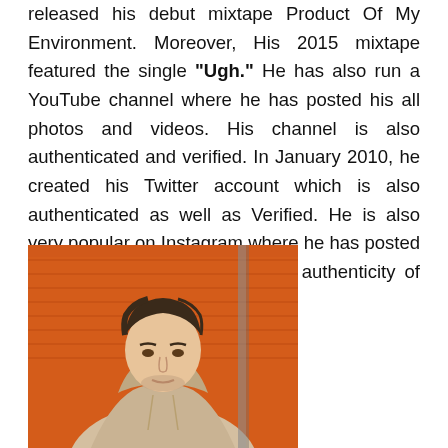released his debut mixtape Product Of My Environment. Moreover, His 2015 mixtape featured the single "Ugh." He has also run a YouTube channel where he has posted his all photos and videos. His channel is also authenticated and verified. In January 2010, he created his Twitter account which is also authenticated as well as Verified. He is also very popular on Instagram where he has posted his all photos and videos. The authenticity of his account is also confirmed.
[Figure (photo): A young man with short dark hair wearing a light beige/cream hoodie, photographed against an orange brick wall background. He is looking toward the camera with a slight expression.]